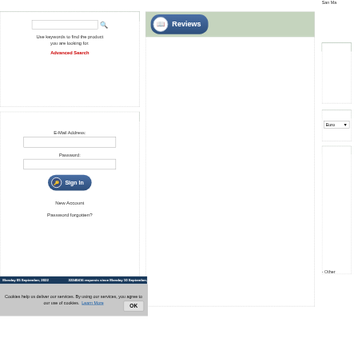Quick Find
Use keywords to find the product you are looking for.
Advanced Search
Log In
E-Mail Address:
Password:
Sign In
New Account
Password forgotten?
[Figure (screenshot): Reviews section header with book icon badge]
San Ma
Langua
Currenc
Euro
Manufa
- Other
Monday 05 September, 2022      32240416 requests since Monday 10 September, 2007
Cookies help us deliver our services. By using our services, you agree to our use of cookies.  Learn More